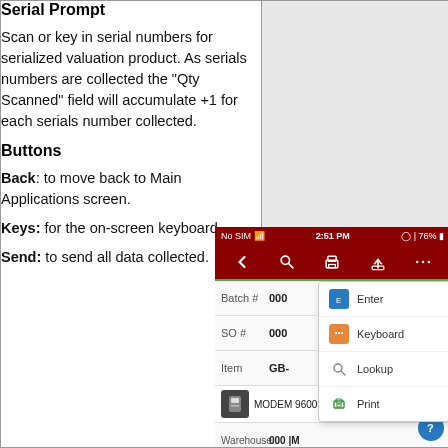Serial Prompt
Scan or key in serial numbers for serialized valuation product. As serials numbers are collected the “Qty Scanned” field will accumulate +1 for each serials number collected.
Buttons
Back: to move back to Main Applications screen.
Keys: for the on-screen keyboard.
Send: to send all data collected.
[Figure (screenshot): Mobile app screenshot showing a dark red toolbar with back, search, print, share, and more icons. Below are fields: Batch #, SO #, Item, and a product row showing MODEM 9600 with a dropdown menu open showing options: Enter, Keyboard, Lookup, Print. A blue help button is visible at bottom right.]